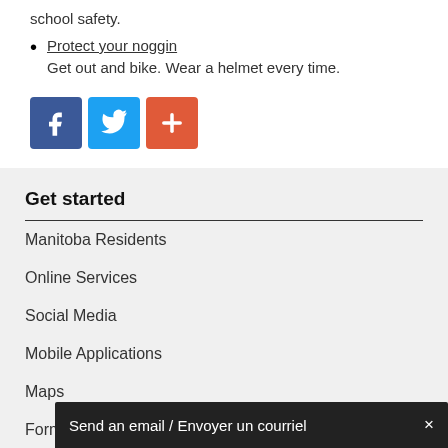school safety.
Protect your noggin
Get out and bike. Wear a helmet every time.
[Figure (other): Social sharing icons: Facebook (blue), Twitter (light blue), and a red plus/share button]
Get started
Manitoba Residents
Online Services
Social Media
Mobile Applications
Maps
Forms
Publications
About Manitoba
Lost Identification
Send an email / Envoyer un courriel  ×